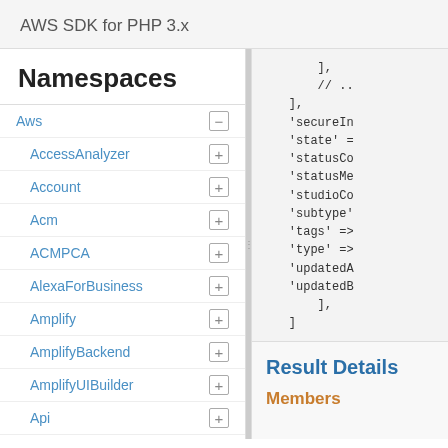AWS SDK for PHP 3.x
Namespaces
Aws
AccessAnalyzer
Account
Acm
ACMPCA
AlexaForBusiness
Amplify
AmplifyBackend
AmplifyUIBuilder
Api
ApiGateway
ApiGatewayManagementApi
[Figure (screenshot): PHP code snippet showing array keys: ], // .., ], 'secureIn', 'state' =, 'statusCo', 'statusMe', 'studioCo', 'subtype', 'tags' =>, 'type' =>, 'updatedA', 'updatedB', ], ]]
Result Details
Members